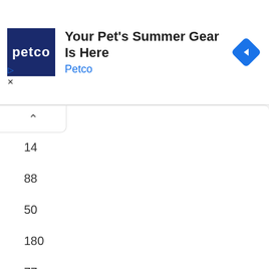[Figure (screenshot): Petco advertisement banner with dark navy logo box showing 'petco' text, headline 'Your Pet's Summer Gear Is Here', subtext 'Petco' in blue, and a blue diamond navigation icon on the right. Play and close controls on the left.]
14
88
50
180
77
152
184
931
Poland